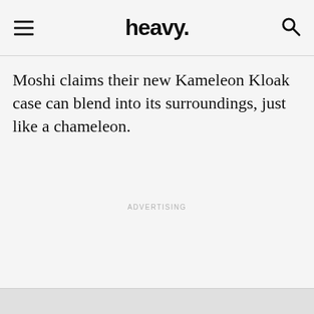heavy.
Moshi claims their new Kameleon Kloak case can blend into its surroundings, just like a chameleon.
ADVERTISING